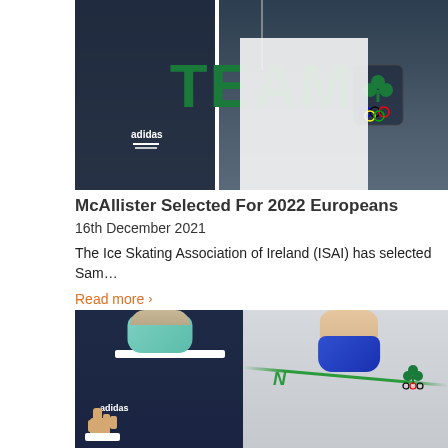[Figure (photo): Close-up photo of a person wearing a dark navy Adidas jacket over a white 'TEAM IRELAND' shirt with Olympic rings and shamrock badge]
McAllister Selected For 2022 Europeans
16th December 2021
The Ice Skating Association of Ireland (ISAI) has selected Sam…
Read more >
[Figure (photo): Two people wearing face masks pose for a photo at an ice rink. The person on the left wears a teal/light blue mask and dark navy Adidas jacket. The person on the right wears a blue mask and a light grey New Balance jacket with Irish Olympic branding. The left person gives a thumbs up.]